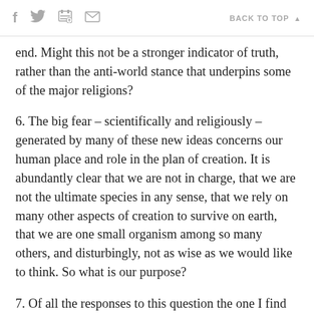f  [twitter]  [print]  [mail]   BACK TO TOP ▲
end. Might this not be a stronger indicator of truth, rather than the anti-world stance that underpins some of the major religions?
6. The big fear – scientifically and religiously – generated by many of these new ideas concerns our human place and role in the plan of creation. It is abundantly clear that we are not in charge, that we are not the ultimate species in any sense, that we rely on many other aspects of creation to survive on earth, that we are one small organism among so many others, and disturbingly, not as wise as we would like to think. So what is our purpose?
7. Of all the responses to this question the one I find most challenging and inspiring is the proposal that we are creation becoming aware of itself. Our unique vocation – and contribution to creation – is to